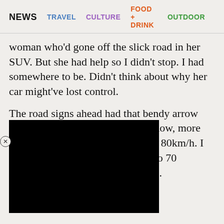NEWS   TRAVEL   CULTURE   FOOD + DRINK   OUTDOOR
woman who'd gone off the slick road in her SUV. But she had help so I didn't stop. I had somewhere to be. Didn't think about why her car might've lost control.
The road signs ahead had that bendy arrow that [redacted] were, by now, more than [redacted] limit reduced to 80km/h. I [redacted] en't great, so I slowed to 70 [redacted] felt the car start to slide.
[Figure (other): Black redaction rectangle overlaying text]
Corrected. Failed. Sliding. Brakes. In seconds I'd come to rest in a storm gutter.
Each time I go back to the Eastern Cape, I seem to